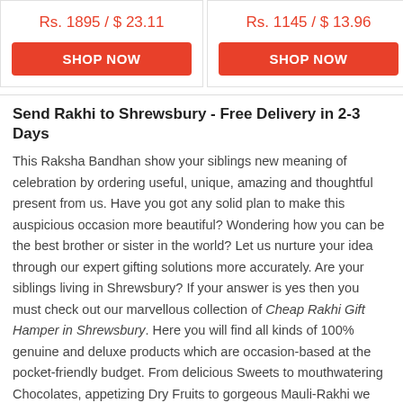Rs. 1895 / $ 23.11
SHOP NOW
Rs. 1145 / $ 13.96
SHOP NOW
Send Rakhi to Shrewsbury - Free Delivery in 2-3 Days
This Raksha Bandhan show your siblings new meaning of celebration by ordering useful, unique, amazing and thoughtful present from us. Have you got any solid plan to make this auspicious occasion more beautiful? Wondering how you can be the best brother or sister in the world? Let us nurture your idea through our expert gifting solutions more accurately. Are your siblings living in Shrewsbury? If your answer is yes then you must check out our marvellous collection of Cheap Rakhi Gift Hamper in Shrewsbury. Here you will find all kinds of 100% genuine and deluxe products which are occasion-based at the pocket-friendly budget. From delicious Sweets to mouthwatering Chocolates, appetizing Dry Fruits to gorgeous Mauli-Rakhi we have everything in our inventory. Do you know we are the most trusted Kids Rakhi